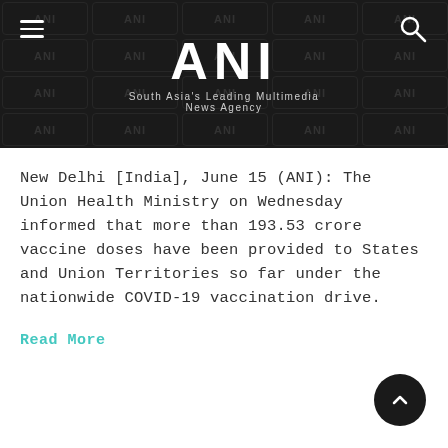ANI — South Asia's Leading Multimedia News Agency
New Delhi [India], June 15 (ANI): The Union Health Ministry on Wednesday informed that more than 193.53 crore vaccine doses have been provided to States and Union Territories so far under the nationwide COVID-19 vaccination drive.
Read More